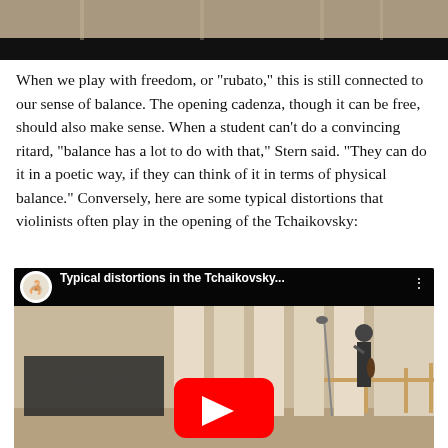[Figure (photo): Top portion of a video/photo showing an indoor space, partially cropped, with black bar at bottom]
When we play with freedom, or "rubato," this is still connected to our sense of balance. The opening cadenza, though it can be free, should also make sense. When a student can't do a convincing ritard, "balance has a lot to do with that," Stern said. "They can do it in a poetic way, if they can think of it in terms of physical balance." Conversely, here are some typical distortions that violinists often play in the opening of the Tchaikovsky:
[Figure (screenshot): YouTube video thumbnail titled 'Typical distortions in the Tchaikovsky...' showing a man standing in a music studio with a violin, with YouTube play button overlay]